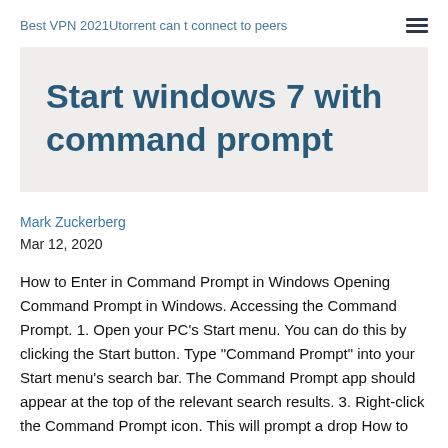Best VPN 2021Utorrent can t connect to peers
Start windows 7 with command prompt
Mark Zuckerberg
Mar 12, 2020
How to Enter in Command Prompt in Windows Opening Command Prompt in Windows. Accessing the Command Prompt. 1. Open your PC's Start menu. You can do this by clicking the Start button. Type "Command Prompt" into your Start menu's search bar. The Command Prompt app should appear at the top of the relevant search results. 3. Right-click the Command Prompt icon. This will prompt a drop How to